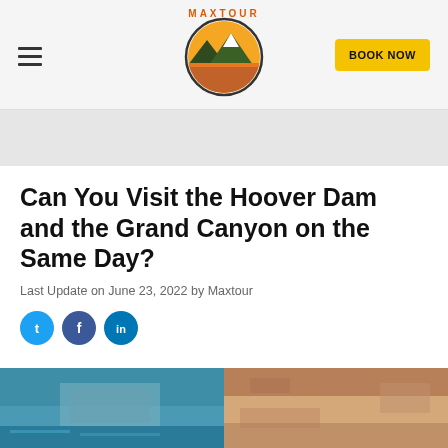BOOK NOW
[Figure (logo): Maxtour circular logo with mountain and sunset design]
Can You Visit the Hoover Dam and the Grand Canyon on the Same Day?
Last Update on June 23, 2022 by Maxtour
[Figure (infographic): Social media share buttons: Twitter, Facebook, LinkedIn]
[Figure (photo): Aerial photograph of Hoover Dam and surrounding canyon landscape]